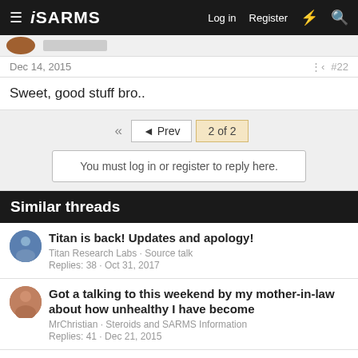iSARMS – Log in  Register
Dec 14, 2015  #22
Sweet, good stuff bro..
◄◄  ◄ Prev  2 of 2
You must log in or register to reply here.
Similar threads
Titan is back! Updates and apology!
Titan Research Labs · Source talk
Replies: 38 · Oct 31, 2017
Got a talking to this weekend by my mother-in-law about how unhealthy I have become
MrChristian · Steroids and SARMS Information
Replies: 41 · Dec 21, 2015